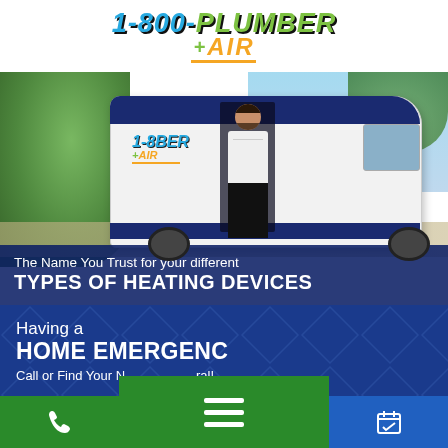[Figure (logo): 1-800-Plumber + Air logo with blue stylized text and yellow/green accents]
[Figure (photo): A technician in white shirt stepping out of a 1-800-Plumber + Air branded white van in a sunny outdoor setting]
The Name You Trust for your different
TYPES OF HEATING DEVICES
Having a
HOME EMERGENCY?
Call or Find Your Nearest Local!